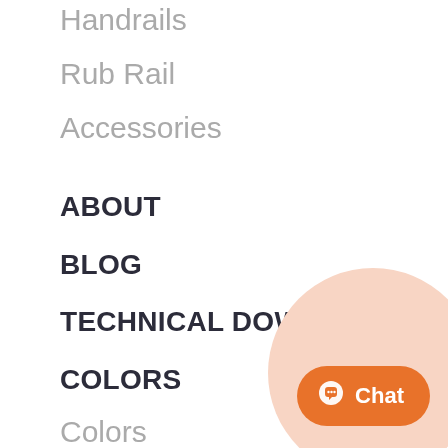Handrails
Rub Rail
Accessories
ABOUT
BLOG
TECHNICAL DOWNLOADS
COLORS
Colors
Wildwood (Wood Laminates)
CUSTOMER SERVICE